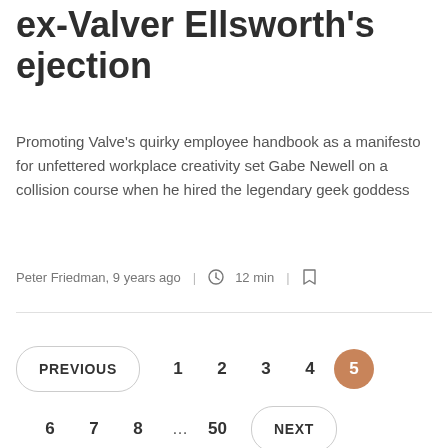ex-Valver Ellsworth's ejection
Promoting Valve's quirky employee handbook as a manifesto for unfettered workplace creativity set Gabe Newell on a collision course when he hired the legendary geek goddess
Peter Friedman, 9 years ago  |  12 min  |  [bookmark]
PREVIOUS  1  2  3  4  5  6  7  8  ...  50  NEXT